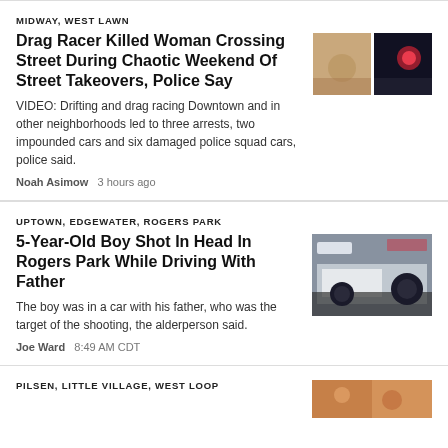MIDWAY, WEST LAWN
Drag Racer Killed Woman Crossing Street During Chaotic Weekend Of Street Takeovers, Police Say
VIDEO: Drifting and drag racing Downtown and in other neighborhoods led to three arrests, two impounded cars and six damaged police squad cars, police said.
Noah Asimow   3 hours ago
[Figure (photo): Two thumbnail photos related to street takeover incident]
UPTOWN, EDGEWATER, ROGERS PARK
5-Year-Old Boy Shot In Head In Rogers Park While Driving With Father
The boy was in a car with his father, who was the target of the shooting, the alderperson said.
Joe Ward   8:49 AM CDT
[Figure (photo): Photo of a police squad car]
PILSEN, LITTLE VILLAGE, WEST LOOP
[Figure (photo): Partial thumbnail photo at bottom right]